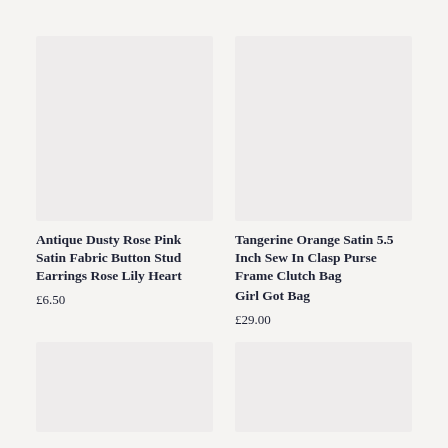[Figure (photo): Product image placeholder for Antique Dusty Rose Pink Satin Fabric Button Stud Earrings - light grey rectangle]
[Figure (photo): Product image placeholder for Tangerine Orange Satin 5.5 Inch Sew In Clasp Purse Frame Clutch Bag - light grey rectangle]
Antique Dusty Rose Pink Satin Fabric Button Stud Earrings Rose Lily Heart
£6.50
Tangerine Orange Satin 5.5 Inch Sew In Clasp Purse Frame Clutch Bag Girl Got Bag
£29.00
[Figure (photo): Product image placeholder bottom left - light grey rectangle]
[Figure (photo): Product image placeholder bottom right - light grey rectangle]